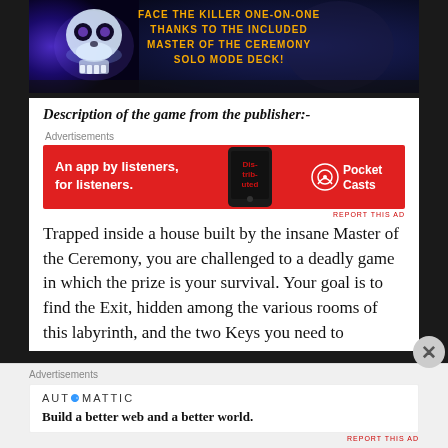[Figure (screenshot): Top banner of a board game product page showing glowing skull/creature with text 'FACE THE KILLER ONE-ON-ONE THANKS TO THE INCLUDED MASTER OF THE CEREMONY SOLO MODE DECK!' in yellow on dark background]
Description of the game from the publisher:-
[Figure (screenshot): Pocket Casts advertisement banner: red background with white text 'An app by listeners, for listeners.' and Pocket Casts logo on right]
REPORT THIS AD
Trapped inside a house built by the insane Master of the Ceremony, you are challenged to a deadly game in which the prize is your survival. Your goal is to find the Exit, hidden among the various rooms of this labyrinth, and the two Keys you need to
[Figure (screenshot): Automattic advertisement: white background with 'AUTOMATTIC' brand text and bold slogan 'Build a better web and a better world.']